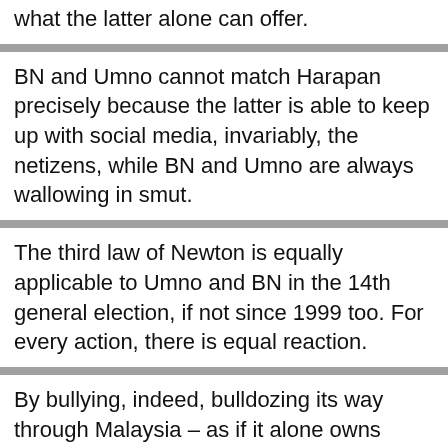what the latter alone can offer.
BN and Umno cannot match Harapan precisely because the latter is able to keep up with social media, invariably, the netizens, while BN and Umno are always wallowing in smut.
The third law of Newton is equally applicable to Umno and BN in the 14th general election, if not since 1999 too. For every action, there is equal reaction.
By bullying, indeed, bulldozing its way through Malaysia – as if it alone owns Malaysia not others – BN and Umno are now looking at total revolt from Kangar in Perlis to Kota Kinabalu in Sabah.